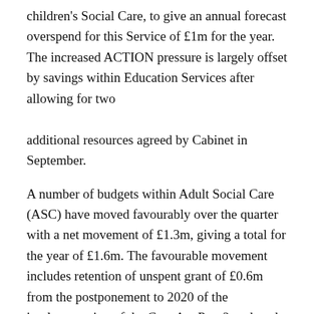children's Social Care, to give an annual forecast overspend for this Service of £1m for the year. The increased ACTION pressure is largely offset by savings within Education Services after allowing for two additional resources agreed by Cabinet in September.
A number of budgets within Adult Social Care (ASC) have moved favourably over the quarter with a net movement of £1.3m, giving a total for the year of £1.6m. The favourable movement includes retention of unspent grant of £0.6m from the postponement to 2020 of the implementation of the Care Act Part 2, reduced budget pressures and additional income of £0.7m.
The net favourable movement in ASC budget variances has been offset by the need to take account of the increased